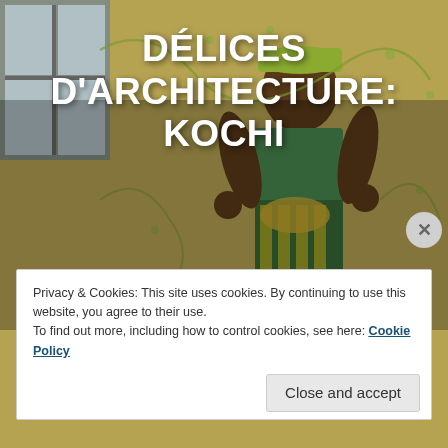[Figure (photo): Background photo of a colorful mural painted on a yellow wall, depicting a person in traditional Keralan dress, with decorative vine/floral patterns around them. A window is visible in the upper left corner.]
DÉLICES D'ARCHITECTURE: KOCHI
Kochi – seaside town filled with delicious Keralan fish dishes, happy holidaymakers, architectural delights. Here are a few.
Read More
Privacy & Cookies: This site uses cookies. By continuing to use this website, you agree to their use.
To find out more, including how to control cookies, see here: Cookie Policy
Close and accept